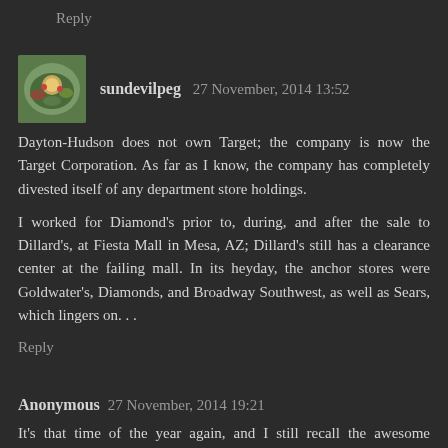Reply
[Figure (photo): User avatar showing a food dish (salad or meal) photo]
sundevilpeg 27 November, 2014 13:52
Dayton-Hudson does not own Target; the company is now the Target Corporation. As far as I know, the company has completely divested itself of any department store holdings.
I worked for Diamond's prior to, during, and after the sale to Dillard's, at Fiesta Mall in Mesa, AZ; Dillard's still has a clearance center at the failing mall. In its heyday, the anchor stores were Goldwater's, Diamonds, and Broadway Southwest, as well as Sears, which lingers on. . .
Reply
Anonymous 27 November, 2014 19:21
It's that time of the year again, and I still recall the awesome Christmas decorations at Diamonds, with the mechanical dolls moving to the sounds of the Christmas